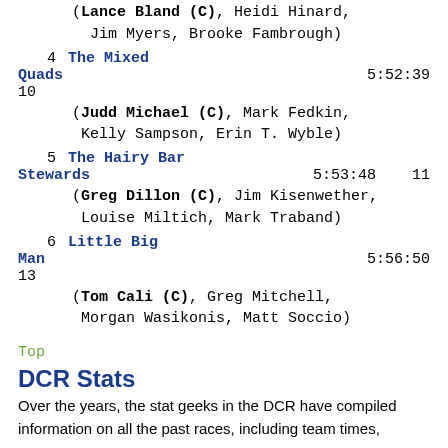(Lance Bland (C), Heidi Hinard, Jim Myers, Brooke Fambrough)
4   The Mixed Quads   5:52:39   10
(Judd Michael (C), Mark Fedkin, Kelly Sampson, Erin T. Wyble)
5   The Hairy Bar Stewards   5:53:48   11
(Greg Dillon (C), Jim Kisenwether, Louise Miltich, Mark Traband)
6   Little Big Man   5:56:50   13
(Tom Cali (C), Greg Mitchell, Morgan Wasikonis, Matt Soccio)
Top
DCR Stats
Over the years, the stat geeks in the DCR have compiled information on all the past races, including team times, runners,